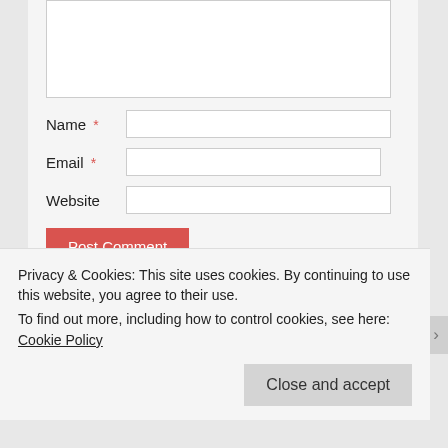[Figure (screenshot): A web comment form showing textarea, Name, Email, Website input fields, a red Post Comment button, and a checkbox for email notifications.]
Privacy & Cookies: This site uses cookies. By continuing to use this website, you agree to their use.
To find out more, including how to control cookies, see here: Cookie Policy
Close and accept